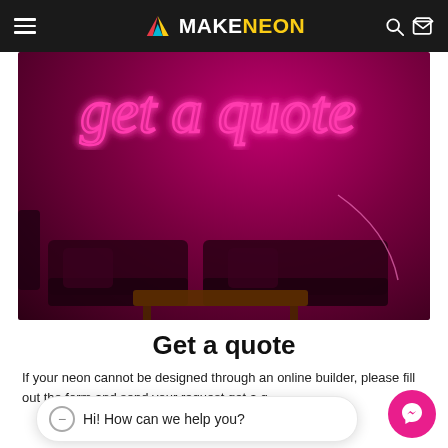MAKENEON
[Figure (photo): Neon sign reading 'get a quote' in pink cursive script on a dark magenta/maroon wall above a living room sofa and coffee table]
Get a quote
If your neon cannot be designed through an online builder, please fill out the form and send your request get a q...
Hi! How can we help you?
GET A QUOTE